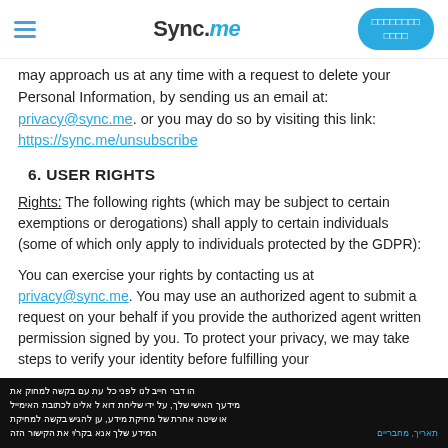Sync.me
may approach us at any time with a request to delete your Personal Information, by sending us an email at: privacy@sync.me. or you may do so by visiting this link: https://sync.me/unsubscribe
6. USER RIGHTS
Rights: The following rights (which may be subject to certain exemptions or derogations) shall apply to certain individuals (some of which only apply to individuals protected by the GDPR):
You can exercise your rights by contacting us at privacy@sync.me. You may use an authorized agent to submit a request on your behalf if you provide the authorized agent written permission signed by you. To protect your privacy, we may take steps to verify your identity before fulfilling your
Hebrew text footer | תאריך, מחבריים